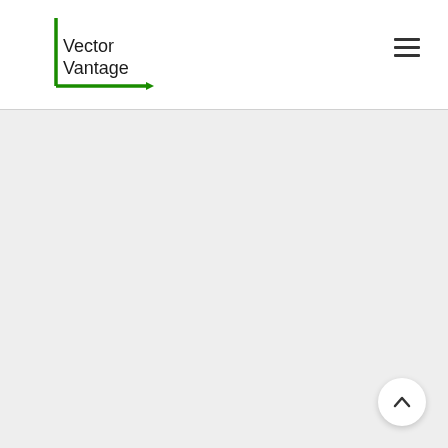[Figure (logo): Vector Vantage logo: green L-shaped axes (vertical bar with upward tick, horizontal arrow pointing right) with text 'Vector Vantage' in a thin sans-serif font]
[Figure (other): Hamburger menu icon: three horizontal dark bars stacked vertically, top-right of header]
[Figure (other): Scroll-to-top button: white circular button with a dark upward-pointing chevron/caret, bottom-right corner of page]